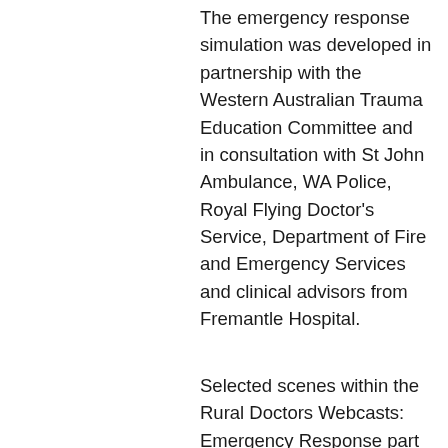The emergency response simulation was developed in partnership with the Western Australian Trauma Education Committee and in consultation with St John Ambulance, WA Police, Royal Flying Doctor's Service, Department of Fire and Emergency Services and clinical advisors from Fremantle Hospital.
Selected scenes within the Rural Doctors Webcasts: Emergency Response part one and two, are included in the Western Australian Trauma Education Committee's Western Trauma Course. Further emergency skills education including Rural Health West's REACT course and the Western Trauma Course can be found at on our website under professional development.
A number of the clinical forms and resources that are referenced in this webcast can be viewed under 'Resources' and 'Related links'.